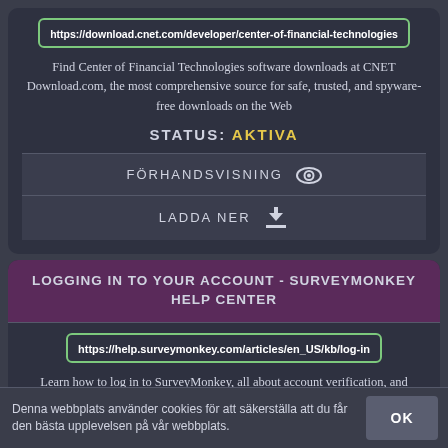https://download.cnet.com/developer/center-of-financial-technologies
Find Center of Financial Technologies software downloads at CNET Download.com, the most comprehensive source for safe, trusted, and spyware-free downloads on the Web
STATUS: AKTIVA
FÖRHANDSVISNING
LADDA NER
LOGGING IN TO YOUR ACCOUNT - SURVEYMONKEY HELP CENTER
https://help.surveymonkey.com/articles/en_US/kb/log-in
Learn how to log in to SurveyMonkey, all about account verification, and
Denna webbplats använder cookies för att säkerställa att du får den bästa upplevelsen på vår webbplats.